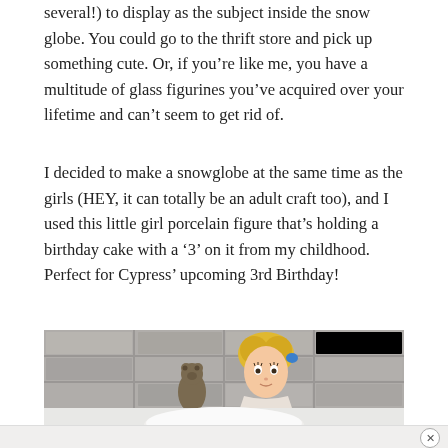several!) to display as the subject inside the snow globe. You could go to the thrift store and pick up something cute. Or, if you’re like me, you have a multitude of glass figurines you’ve acquired over your lifetime and can’t seem to get rid of.
I decided to make a snowglobe at the same time as the girls (HEY, it can totally be an adult craft too), and I used this little girl porcelain figure that’s holding a birthday cake with a ‘3’ on it from my childhood. Perfect for Cypress’ upcoming 3rd Birthday!
[Figure (photo): A photo showing a porcelain girl figure with blonde hair and a small bear figure against a grey tile background. Below is a white background with another partial view.]